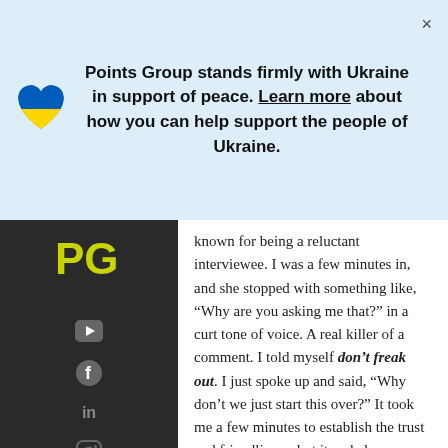Points Group stands firmly with Ukraine in support of peace. Learn more about how you can help support the people of Ukraine.
[Figure (illustration): Blue and yellow heart icon representing Ukraine flag colors]
known for being a reluctant interviewee. I was a few minutes in, and she stopped with something like, “Why are you asking me that?” in a curt tone of voice. A real killer of a comment. I told myself don’t freak out. I just spoke up and said, “Why don’t we just start this over?” It took me a few minutes to establish the trust and friendliness, but it ended up coming off just fine. She thawed.
I think that’s the point. You have to make sure you establish some groundwork and not just jump right into things.
Q. Why do you feel interviewing is important for marketing?